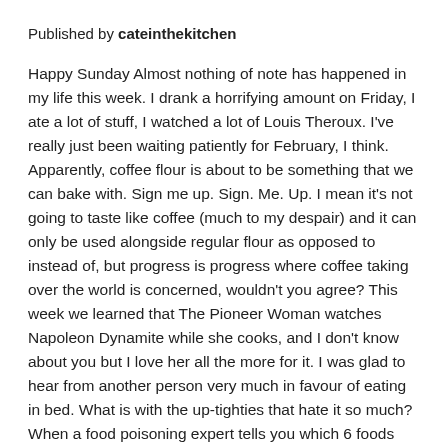Published by cateinthekitchen
Happy Sunday Almost nothing of note has happened in my life this week. I drank a horrifying amount on Friday, I ate a lot of stuff, I watched a lot of Louis Theroux. I've really just been waiting patiently for February, I think. Apparently, coffee flour is about to be something that we can bake with. Sign me up. Sign. Me. Up. I mean it's not going to taste like coffee (much to my despair) and it can only be used alongside regular flour as opposed to instead of, but progress is progress where coffee taking over the world is concerned, wouldn't you agree? This week we learned that The Pioneer Woman watches Napoleon Dynamite while she cooks, and I don't know about you but I love her all the more for it. I was glad to hear from another person very much in favour of eating in bed. What is with the up-tighties that hate it so much? When a food poisoning expert tells you which 6 foods they never ever eat, it's probably a …